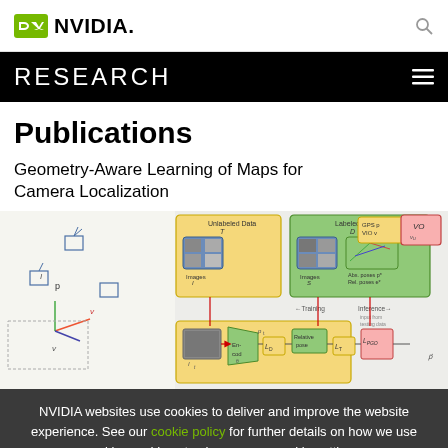NVIDIA RESEARCH
Publications
Geometry-Aware Learning of Maps for Camera Localization
[Figure (schematic): A research diagram showing a pipeline for geometry-aware learning of maps for camera localization. Left side shows unlabeled data T with camera poses and coordinate frames. Right side shows labeled data D with images, relative poses, GPS/VIO inputs. The pipeline includes encoder networks, loss functions L_D, L_T, L_PGO, relative pose estimation, and inference modules outputting pose estimates.]
NVIDIA websites use cookies to deliver and improve the website experience. See our cookie policy for further details on how we use cookies and how to change your cookie settings.